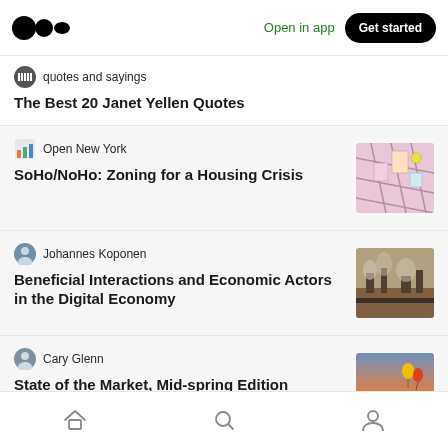Open in app | Get started
quotes and sayings
The Best 20 Janet Yellen Quotes
Open New York
SoHo/NoHo: Zoning for a Housing Crisis
[Figure (photo): Aerial zoning map of Manhattan neighborhood]
Johannes Koponen
Beneficial Interactions and Economic Actors in the Digital Economy
[Figure (photo): Industrial silhouette scene with smoke and ships]
Cary Glenn
State of the Market, Mid-spring Edition
[Figure (photo): Two people standing on a beach with hot air balloons at sunset]
Home | Search | Profile